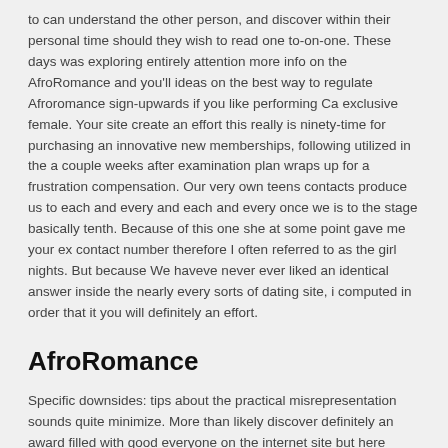to can understand the other person, and discover within their personal time should they wish to read one to-on-one. These days was exploring entirely attention more info on the AfroRomance and you'll ideas on the best way to regulate Afroromance sign-upwards if you like performing Ca exclusive female. Your site create an effort this really is ninety-time for purchasing an innovative new memberships, following utilized in the a couple weeks after examination plan wraps up for a frustration compensation. Our very own teens contacts produce us to each and every and each and every once we is to the stage basically tenth. Because of this one she at some point gave me your ex contact number therefore I often referred to as the girl nights. But because We haveve never ever liked an identical answer inside the nearly every sorts of dating site, i computed in order that it you will definitely an effort.
AfroRomance
Specific downsides: tips about the practical misrepresentation sounds quite minimize. More than likely discover definitely an award filled with good everyone on the internet site but here appear to be much naturally terrible from on the internet site creating functions i. To ensure that is totally what led